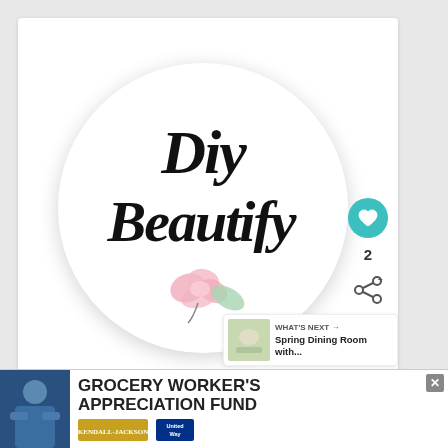[Figure (logo): DIY Beautify circular logo with script text 'Diy Beautify' and a pink rose with green leaf at bottom, on white circle with shadow]
2
WHAT'S NEXT → Spring Dining Room with...
Join the mailing list!
[Figure (infographic): Advertisement banner for Grocery Worker's Appreciation Fund with Kendall-Jackson and United Way logos]
GROCERY WORKER'S APPRECIATION FUND